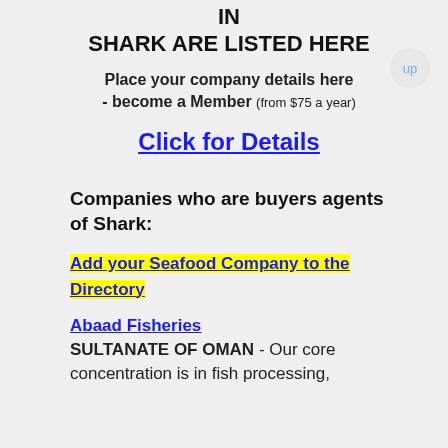IN
SHARK ARE LISTED HERE
Place your company details here - become a Member (from $75 a year)
Click for Details
Companies who are buyers agents of Shark:
Add your Seafood Company to the Directory
Abaad Fisheries
SULTANATE OF OMAN - Our core concentration is in fish processing,